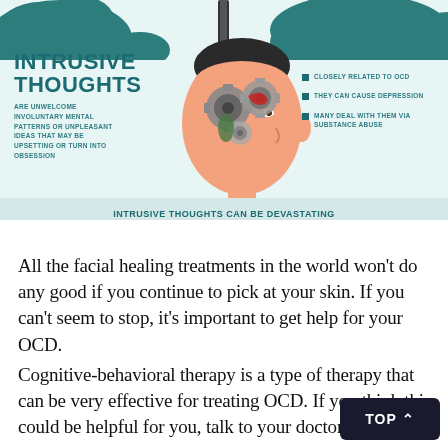[Figure (infographic): Infographic about intrusive thoughts showing a teal cloud at top, a title 'INTRUSIVE THOUGHTS' on the left, a head illustration with gears in the center, bullet points on the right listing: Closely related to OCD, They can cause depression, Many deal with them via substance abuse, and a banner stating 'INTRUSIVE THOUGHTS CAN BE DEVASTATING BUT THERE ARE WAYS TO DEAL WITH THEM!']
All the facial healing treatments in the world won't do any good if you continue to pick at your skin. If you can't seem to stop, it's important to get help for your OCD.
Cognitive-behavioral therapy is a type of therapy that can be very effective for treating OCD. If you think this could be helpful for you, talk to your doctor or therapist about it.